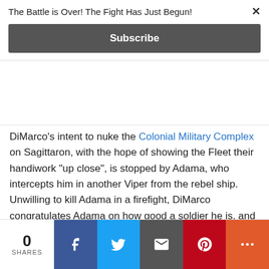The Battle is Over! The Fight Has Just Begun!
Subscribe
DiMarco's intent to nuke the Colonial Military Complex on Sagittaron, with the hope of showing the Fleet their handiwork "up close", is stopped by Adama, who intercepts him in another Viper from the rebel ship. Unwilling to kill Adama in a firefight, DiMarco congratulates Adama on how good a soldier he is, and ejects himself into space without his helmet, thereby committing suicide (Battlestar Galactica: Season Zero 6).
0 SHARES